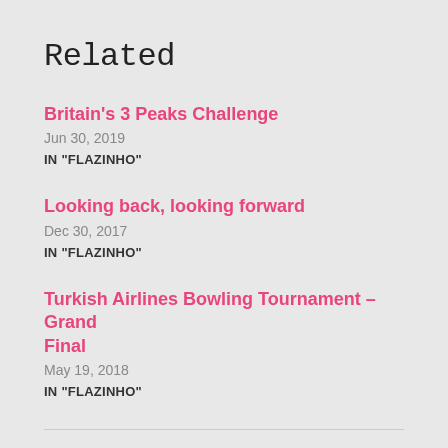Related
Britain's 3 Peaks Challenge
Jun 30, 2019
IN "FLAZINHO"
Looking back, looking forward
Dec 30, 2017
IN "FLAZINHO"
Turkish Airlines Bowling Tournament – Grand Final
May 19, 2018
IN "FLAZINHO"